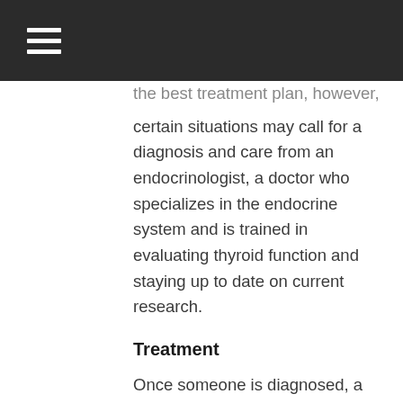the best treatment plan, however, certain situations may call for a diagnosis and care from an endocrinologist, a doctor who specializes in the endocrine system and is trained in evaluating thyroid function and staying up to date on current research.
Treatment
Once someone is diagnosed, a doctor will suggest possible treatments. A patient may be prescribed pure synthetic T4, or levothyroxine sodium. This medication works like the body's own thyroid hormone, so side effects are rare. Patients begin with a